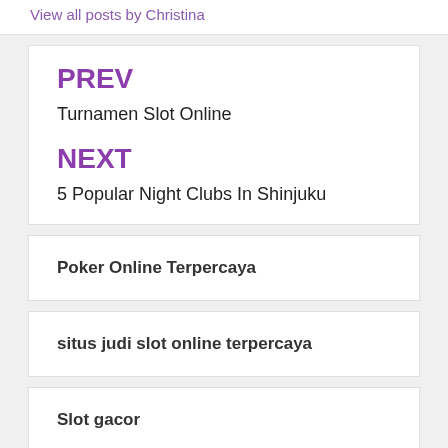View all posts by Christina
PREV
Turnamen Slot Online
NEXT
5 Popular Night Clubs In Shinjuku
Poker Online Terpercaya
situs judi slot online terpercaya
Slot gacor